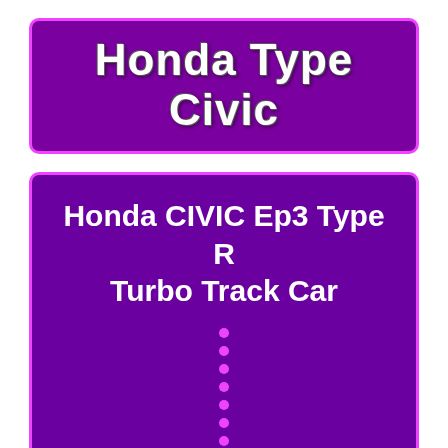Honda Type Civic
Honda CIVIC Ep3 Type R Turbo Track Car
[Figure (other): Vertical dotted line made of magenta/purple dots on purple background]
More info on eBay